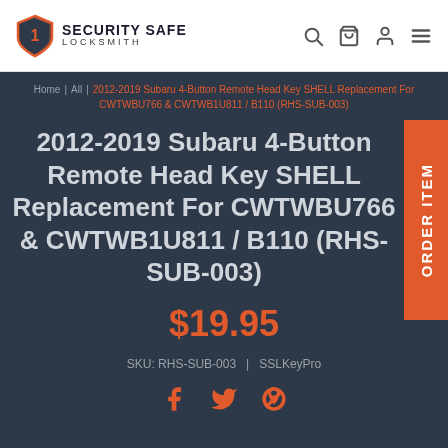Security Safe Locksmith
Home | All | 2012-2019 Subaru 4-Button Remote Head Key SHELL Replacement For CWTWBU766 & CWTWB1U811 / B110 (RHS-SUB-003)
2012-2019 Subaru 4-Button Remote Head Key SHELL Replacement For CWTWBU766 & CWTWB1U811 / B110 (RHS-SUB-003)
$19.95
SKU: RHS-SUB-003 | SSLKeyPro